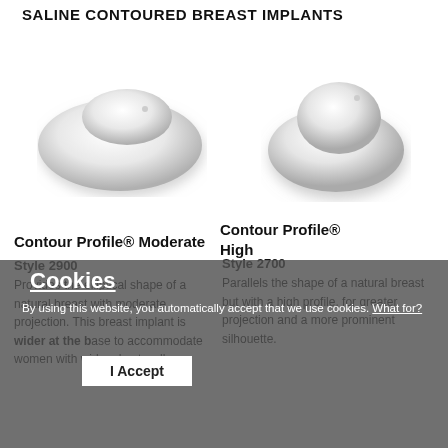SALINE CONTOURED BREAST IMPLANTS
[Figure (photo): Two saline contoured breast implants side by side — left is wider/flatter (Moderate), right is taller/more projected (High)]
Contour Profile® Moderate
Style 2900
Provides the elliptical shape of a natural breast with moderate projection. This breast implant is wider at the base to accommodate women with wider chest walls.
Contour Profile® High
Style 2700
Parallels the shape of a natural breast but with a high profile, for greater projection and a more prominent silhouette.